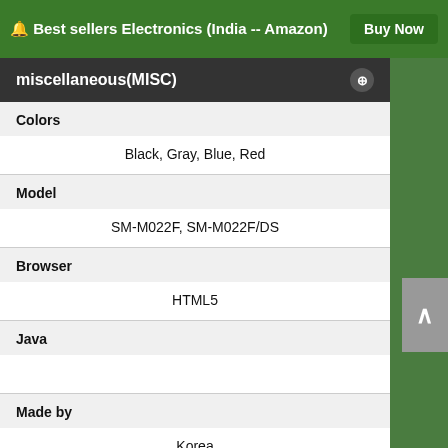🔔 Best sellers Electronics (India -- Amazon)   Buy Now
miscellaneous(MISC)
| Attribute | Value |
| --- | --- |
| Colors | Black, Gray, Blue, Red |
| Model | SM-M022F, SM-M022F/DS |
| Browser | HTML5 |
| Java |  |
| Made by | Korea |